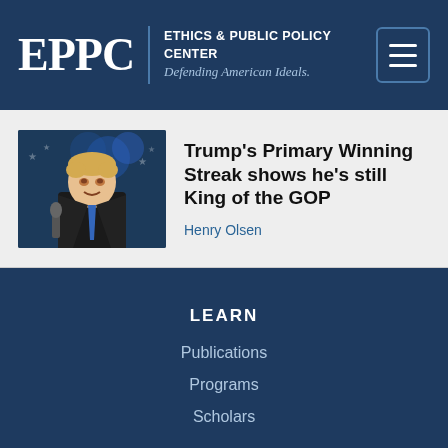EPPC | ETHICS & PUBLIC POLICY CENTER Defending American Ideals.
Trump's Primary Winning Streak shows he's still King of the GOP
Henry Olsen
LEARN
Publications
Programs
Scholars
CONNECT
Events
Support